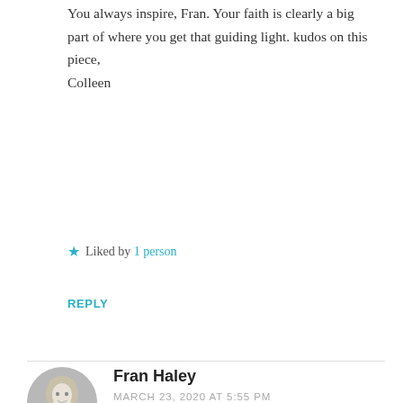You always inspire, Fran. Your faith is clearly a big part of where you get that guiding light. kudos on this piece,
Colleen
Liked by 1 person
REPLY
[Figure (photo): Circular avatar photo of Fran Haley, a woman with blonde hair smiling, black and white photo]
Fran Haley
MARCH 23, 2020 AT 5:55 PM
Thanks so much, Colleen! “Sub rosa” has such an interesting history … I am always grateful for you and your words, You, too, are an inspiration in your writing and your